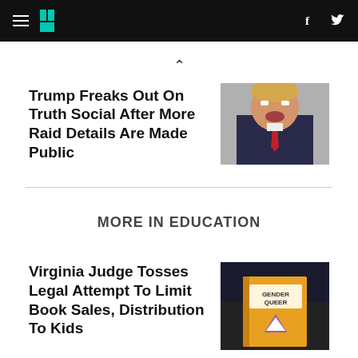HuffPost navigation bar with logo, hamburger menu, Facebook and Twitter icons
Trump Freaks Out On Truth Social After More Raid Details Are Made Public
[Figure (photo): Photo of Donald Trump with fists raised, wearing a dark suit and red tie, mouth open]
MORE IN EDUCATION
Virginia Judge Tosses Legal Attempt To Limit Book Sales, Distribution To Kids
[Figure (photo): Person holding a yellow book titled 'Gender Queer']